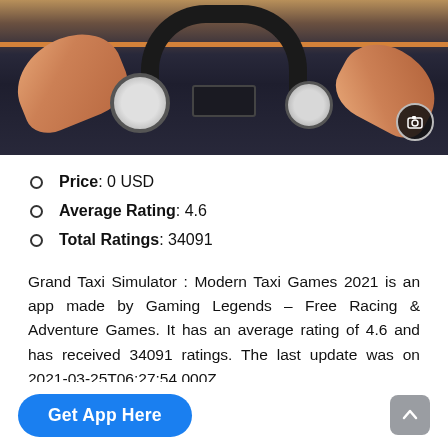[Figure (screenshot): Screenshot of a taxi driving simulator game showing first-person view of hands on steering wheel with dashboard gauges and orange interior trim]
Price: 0 USD
Average Rating: 4.6
Total Ratings: 34091
Grand Taxi Simulator : Modern Taxi Games 2021 is an app made by Gaming Legends – Free Racing & Adventure Games. It has an average rating of 4.6 and has received 34091 ratings. The last update was on 2021-03-25T06:27:54.000Z.
Get App Here